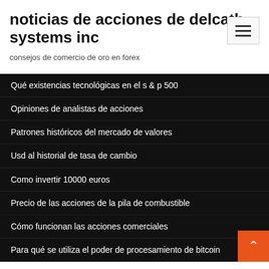noticias de acciones de delcath systems inc
consejos de comercio de oro en forex
Qué existencias tecnológicas en el s & p 500
Opiniones de analistas de acciones
Patrones históricos del mercado de valores
Usd al historial de tasa de cambio
Como invertir 10000 euros
Precio de las acciones de la pila de combustible
Cómo funcionan las acciones comerciales
Para qué se utiliza el poder de procesamiento de bitcoin